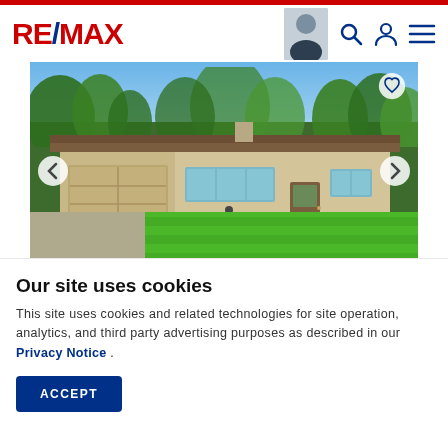RE/MAX
[Figure (photo): RE/MAX real estate listing page showing a ranch-style house at 209 W ELIZABETH ST, Yorkville, IL 60560 with a large green lawn and attached garage]
209 W ELIZABETH ST, Yorkville, IL 60560
$249,900
Our site uses cookies
This site uses cookies and related technologies for site operation, analytics, and third party advertising purposes as described in our Privacy Notice .
ACCEPT